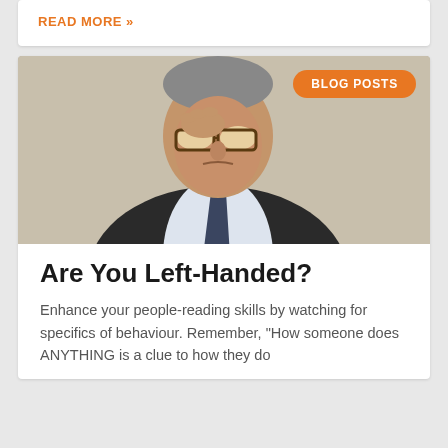READ MORE »
[Figure (photo): A middle-aged man in a dark suit and tie, lifting his glasses with one hand and looking downward with a skeptical or scrutinizing expression. An orange 'BLOG POSTS' badge is overlaid in the upper right corner of the image.]
Are You Left-Handed?
Enhance your people-reading skills by watching for specifics of behaviour. Remember, "How someone does ANYTHING is a clue to how they do..."